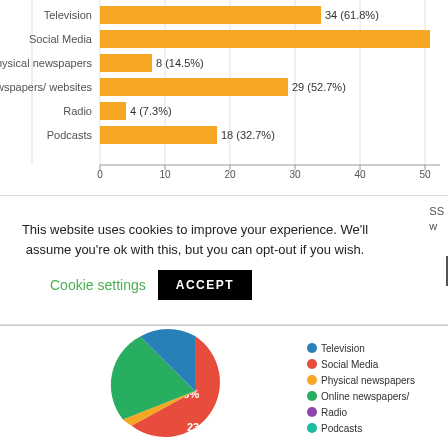[Figure (bar-chart): Media sources]
This website uses cookies to improve your experience. We'll assume you're ok with this, but you can opt-out if you wish.
Cookie settings  ACCEPT
[Figure (pie-chart): ]